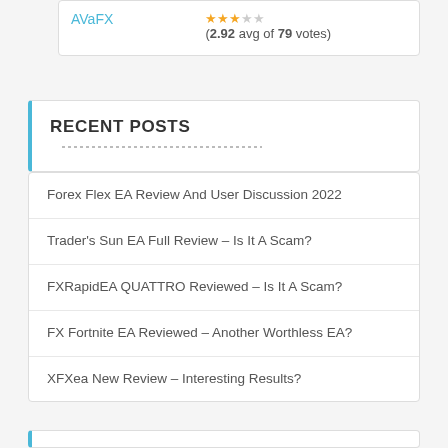| Broker | Rating |
| --- | --- |
| AvafX | (2.92 avg of 79 votes) |
RECENT POSTS
Forex Flex EA Review And User Discussion 2022
Trader's Sun EA Full Review – Is It A Scam?
FXRapidEA QUATTRO Reviewed – Is It A Scam?
FX Fortnite EA Reviewed – Another Worthless EA?
XFXea New Review – Interesting Results?